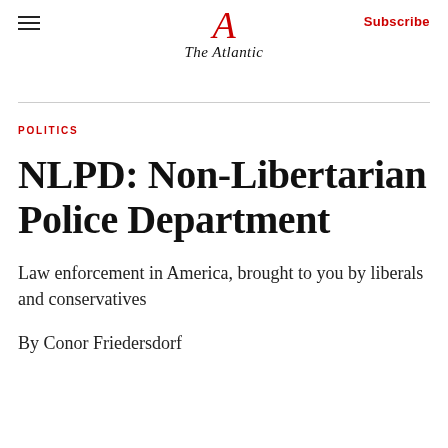The Atlantic
POLITICS
NLPD: Non-Libertarian Police Department
Law enforcement in America, brought to you by liberals and conservatives
By Conor Friedersdorf